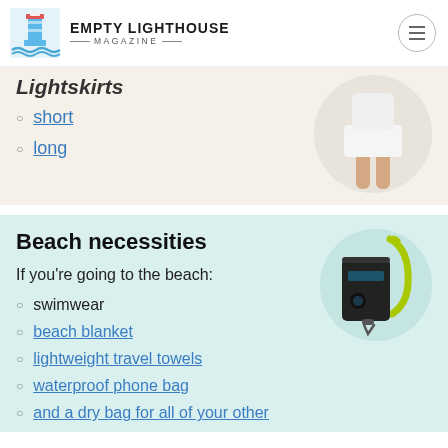Empty Lighthouse Magazine
short
long
[Figure (photo): Woman wearing a white skirt, circular cropped photo]
Beach necessities
If you're going to the beach:
[Figure (photo): Waterproof phone bag/case with yellow-green lanyard strap, circular cropped photo]
swimwear
beach blanket
lightweight travel towels
waterproof phone bag
and a dry bag for all of your other